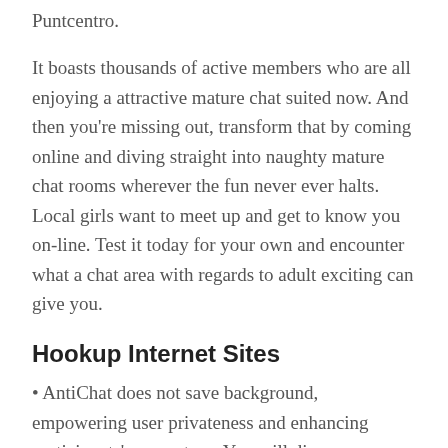Puntcentro.
It boasts thousands of active members who are all enjoying a attractive mature chat suited now. And then you're missing out, transform that by coming online and diving straight into naughty mature chat rooms wherever the fun never ever halts. Local girls want to meet up and get to know you on-line. Test it today for your own and encounter what a chat area with regards to adult exciting can give you.
Hookup Internet Sites
AntiChat does not save background, empowering user privateness and enhancing participants' encounter. • You will discover no advertisings or spam videos that may plague your expertise with the website. You can appear for a specific chat